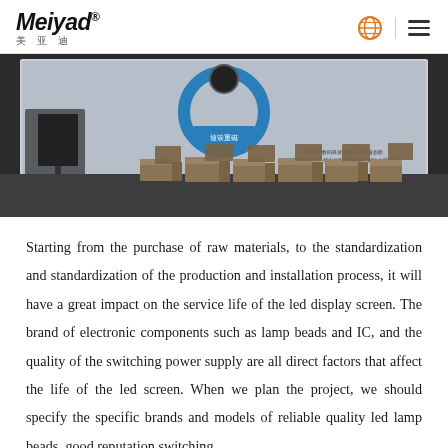Meiyad® 美 亚 迪
[Figure (photo): Exhibition room photo showing a large LED display screen with a circular blue product displayed on it, and multiple wooden cube boxes/stools arranged on the floor in front of the screen.]
Starting from the purchase of raw materials, to the standardization and standardization of the production and installation process, it will have a great impact on the service life of the led display screen. The brand of electronic components such as lamp beads and IC, and the quality of the switching power supply are all direct factors that affect the life of the led screen. When we plan the project, we should specify the specific brands and models of reliable quality led lamp beads, good reputation switching